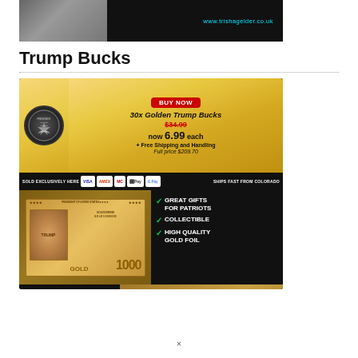[Figure (photo): Dark background image with a person's face visible on left side and website URL www.trishagelder.co.uk in cyan text on the right]
Trump Bucks
[Figure (advertisement): Advertisement image for 30x Golden Trump Bucks. Shows BUY NOW badge in red, price crossed out at $34.99, now 6.99 each + Free Shipping and Handling, Full price $209.70. Payment method icons shown. Features listed: Great Gifts for Patriots, Collectible, High Quality Gold Foil. Shows golden Trump novelty banknotes. Bottom text says DON'T MISS YOUR GOLDEN CHANCE! THIS SPECIAL PROMOTION]
×